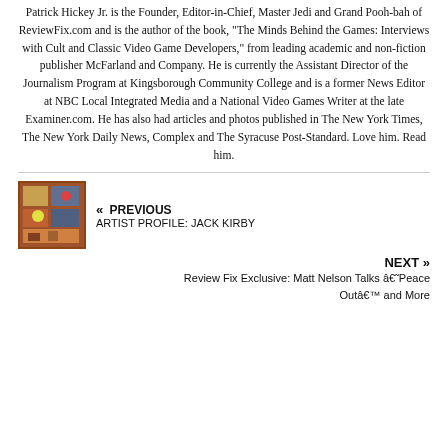Patrick Hickey Jr. is the Founder, Editor-in-Chief, Master Jedi and Grand Pooh-bah of ReviewFix.com and is the author of the book, "The Minds Behind the Games: Interviews with Cult and Classic Video Game Developers," from leading academic and non-fiction publisher McFarland and Company. He is currently the Assistant Director of the Journalism Program at Kingsborough Community College and is a former News Editor at NBC Local Integrated Media and a National Video Games Writer at the late Examiner.com. He has also had articles and photos published in The New York Times, The New York Daily News, Complex and The Syracuse Post-Standard. Love him. Read him.
« PREVIOUS
ARTIST PROFILE: JACK KIRBY
NEXT »
Review Fix Exclusive: Matt Nelson Talks â€˜Peace Outâ€™ and More